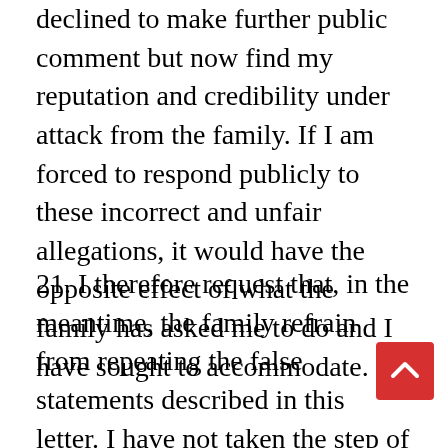declined to make further public comment but now find my reputation and credibility under attack from the family. If I am forced to respond publicly to these incorrect and unfair allegations, it would have the opposite effect of what the family has asked me to do and I have sought to accommodate.
21. I therefore request that, in the meantime, the family refrain from repeating the false statements described in this letter. I have not taken the step of commencing defamation proceedings in relation to the above statements although I would be entitled to do so in New Zealand. I reserve all of my rights and remedies in this regard. My preference is that the family and I move forward together. If